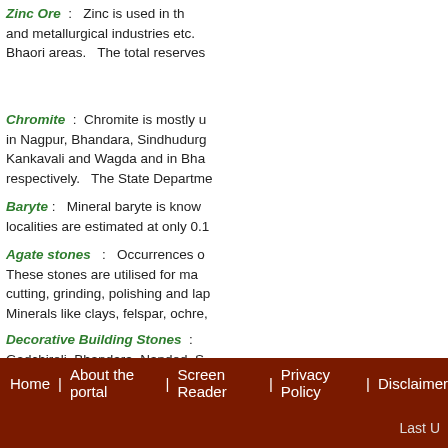Zinc Ore : Zinc is used in the and metallurgical industries etc. Bhaori areas. The total reserves
Chromite : Chromite is mostly u in Nagpur, Bhandara, Sindhudurg Kankavali and Wagda and in Bha respectively. The State Departme
Baryte : Mineral baryte is know localities are estimated at only 0.1
Agate stones : Occurrences o These stones are utilised for ma cutting, grinding, polishing and lap
Minerals like clays, felspar, ochre,
Decorative Building Stones : Gadchiroli, Bhandara, Nanded, S Basalts, Sandstones etc. Abo Geology and Mining Department.
In addition, the State has vast res
Home | About the portal | Screen Reader | Privacy Policy | Disclaimer
Last U